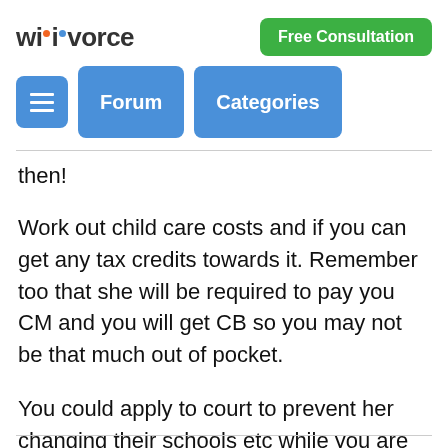wikivorce | Free Consultation
then!
Work out child care costs and if you can get any tax credits towards it. Remember too that she will be required to pay you CM and you will get CB so you may not be that much out of pocket.
You could apply to court to prevent her changing their schools etc while you are sorting it all.